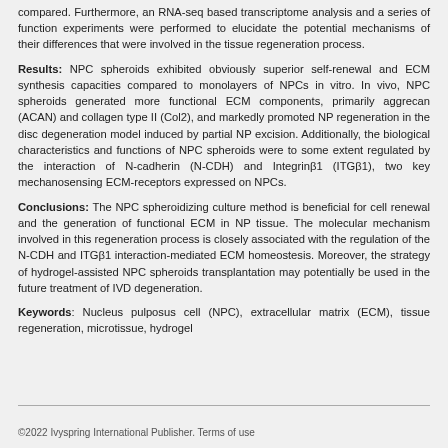compared. Furthermore, an RNA-seq based transcriptome analysis and a series of function experiments were performed to elucidate the potential mechanisms of their differences that were involved in the tissue regeneration process.
Results: NPC spheroids exhibited obviously superior self-renewal and ECM synthesis capacities compared to monolayers of NPCs in vitro. In vivo, NPC spheroids generated more functional ECM components, primarily aggrecan (ACAN) and collagen type II (Col2), and markedly promoted NP regeneration in the disc degeneration model induced by partial NP excision. Additionally, the biological characteristics and functions of NPC spheroids were to some extent regulated by the interaction of N-cadherin (N-CDH) and Integrinβ1 (ITGβ1), two key mechanosensing ECM-receptors expressed on NPCs.
Conclusions: The NPC spheroidizing culture method is beneficial for cell renewal and the generation of functional ECM in NP tissue. The molecular mechanism involved in this regeneration process is closely associated with the regulation of the N-CDH and ITGβ1 interaction-mediated ECM homeostesis. Moreover, the strategy of hydrogel-assisted NPC spheroids transplantation may potentially be used in the future treatment of IVD degeneration.
Keywords: Nucleus pulposus cell (NPC), extracellular matrix (ECM), tissue regeneration, microtissue, hydrogel
©2022 Ivyspring International Publisher. Terms of use